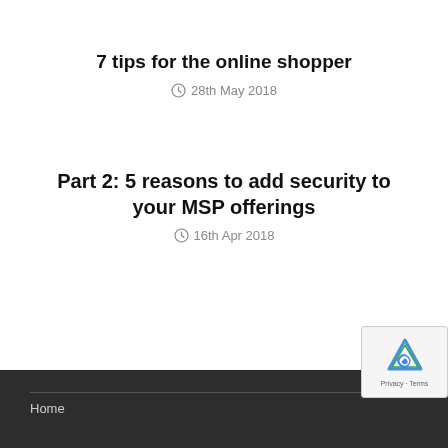7 tips for the online shopper
28th May 2018
Part 2: 5 reasons to add security to your MSP offerings
16th Apr 2018
Home